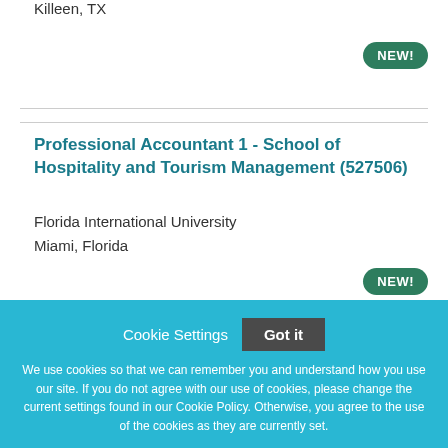Killeen, TX
[Figure (other): NEW! badge in green rounded pill shape]
Professional Accountant 1 - School of Hospitality and Tourism Management (527506)
Florida International University
Miami, Florida
[Figure (other): NEW! badge in green rounded pill shape]
Cookie Settings  Got it

We use cookies so that we can remember you and understand how you use our site. If you do not agree with our use of cookies, please change the current settings found in our Cookie Policy. Otherwise, you agree to the use of the cookies as they are currently set.